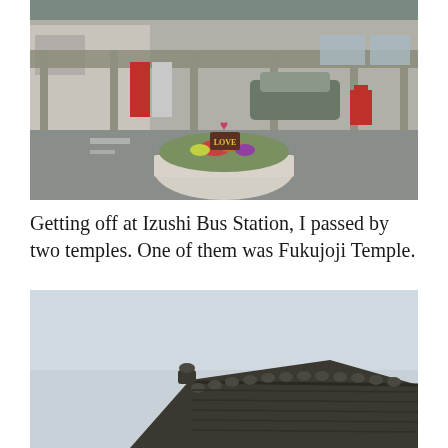[Figure (photo): Izushi Bus Station exterior with a circular flower bed decorated with a 'LOVE' sign in the center of the plaza. Vending machines visible on the left, a red post box on the right, and a car parked in the background.]
Getting off at Izushi Bus Station, I passed by two temples. One of them was Fukujoji Temple.
[Figure (photo): Close-up view of a traditional Japanese temple roof with dark curved roof tiles against a pale overcast sky. The ornate eave details and cylindrical tile ends are visible.]